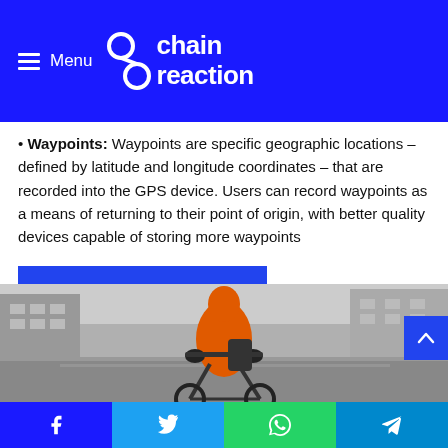Menu | chain reaction
Waypoints: Waypoints are specific geographic locations – defined by latitude and longitude coordinates – that are recorded into the GPS device. Users can record waypoints as a means of returning to their point of origin, with better quality devices capable of storing more waypoints
Shop Outdoor GPS
[Figure (photo): Person in orange jacket riding a bicycle on a city street, black and white background]
Facebook | Twitter | WhatsApp | Telegram share buttons